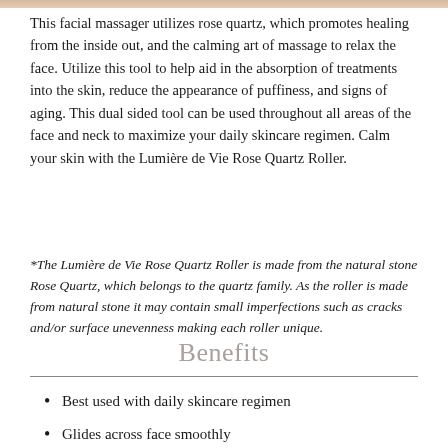[Figure (photo): Top portion of a product image of the Lumière de Vie Rose Quartz Roller, showing warm peach/golden tones]
This facial massager utilizes rose quartz, which promotes healing from the inside out, and the calming art of massage to relax the face. Utilize this tool to help aid in the absorption of treatments into the skin, reduce the appearance of puffiness, and signs of aging. This dual sided tool can be used throughout all areas of the face and neck to maximize your daily skincare regimen. Calm your skin with the Lumière de Vie Rose Quartz Roller.
*The Lumière de Vie Rose Quartz Roller is made from the natural stone Rose Quartz, which belongs to the quartz family. As the roller is made from natural stone it may contain small imperfections such as cracks and/or surface unevenness making each roller unique.
Benefits
Best used with daily skincare regimen
Glides across face smoothly